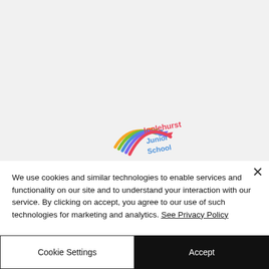[Figure (logo): Inglehurst Junior School logo with colorful swoosh arrows and text reading 'Inglehurst Junior School']
We use cookies and similar technologies to enable services and functionality on our site and to understand your interaction with our service. By clicking on accept, you agree to our use of such technologies for marketing and analytics. See Privacy Policy